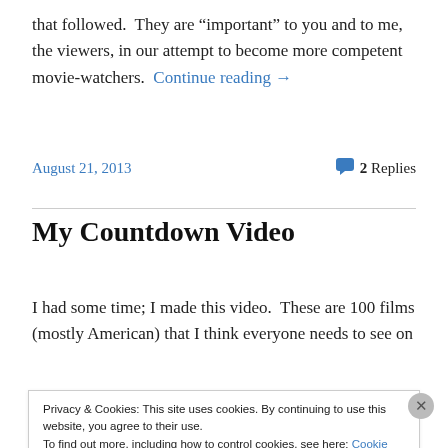that followed.  They are “important” to you and to me, the viewers, in our attempt to become more competent movie-watchers. Continue reading →
August 21, 2013
2 Replies
My Countdown Video
I had some time; I made this video.  These are 100 films (mostly American) that I think everyone needs to see on
Privacy & Cookies: This site uses cookies. By continuing to use this website, you agree to their use.
To find out more, including how to control cookies, see here: Cookie Policy
Close and accept